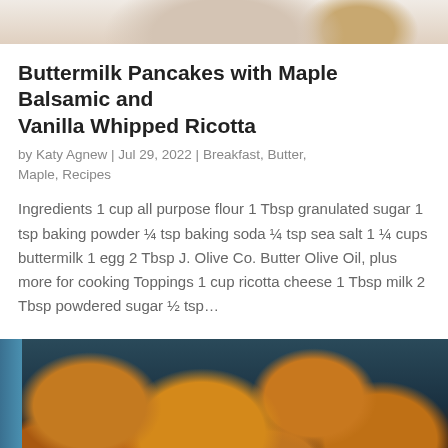[Figure (photo): Partial top view of a plate with pancakes and a bowl, cropped at top of page]
Buttermilk Pancakes with Maple Balsamic and Vanilla Whipped Ricotta
by Katy Agnew | Jul 29, 2022 | Breakfast, Butter, Maple, Recipes
Ingredients 1 cup all purpose flour 1 Tbsp granulated sugar 1 tsp baking powder ¼ tsp baking soda ¼ tsp sea salt 1 ¼ cups buttermilk 1 egg 2 Tbsp J. Olive Co. Butter Olive Oil, plus more for cooking Toppings 1 cup ricotta cheese 1 Tbsp milk 2 Tbsp powdered sugar ½ tsp…
[Figure (photo): Close-up photo of roasted golden-brown cubed sweet potatoes on a baking sheet, with a blue item visible on the left edge]